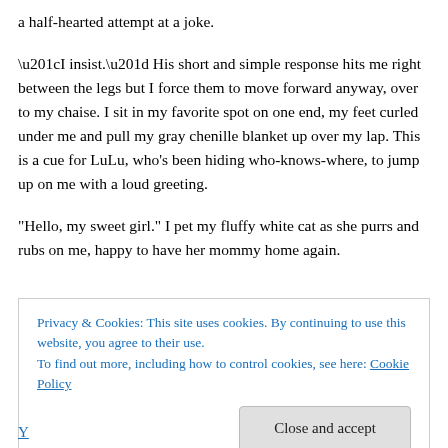a half-hearted attempt at a joke.
“I insist.” His short and simple response hits me right between the legs but I force them to move forward anyway, over to my chaise. I sit in my favorite spot on one end, my feet curled under me and pull my gray chenille blanket up over my lap. This is a cue for LuLu, who’s been hiding who-knows-where, to jump up on me with a loud greeting.
“Hello, my sweet girl.” I pet my fluffy white cat as she purrs and rubs on me, happy to have her mommy home again.
Privacy & Cookies: This site uses cookies. By continuing to use this website, you agree to their use.
To find out more, including how to control cookies, see here: Cookie Policy
Close and accept